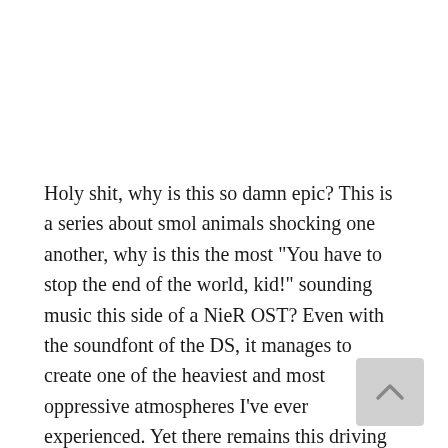Holy shit, why is this so damn epic? This is a series about smol animals shocking one another, why is this the most "You have to stop the end of the world, kid!" sounding music this side of a NieR OST? Even with the soundfont of the DS, it manages to create one of the heaviest and most oppressive atmospheres I've ever experienced. Yet there remains this driving beat and some high-pitched notes that give the piece a certain level of optimism and hope. It's as though the piece wants to tell